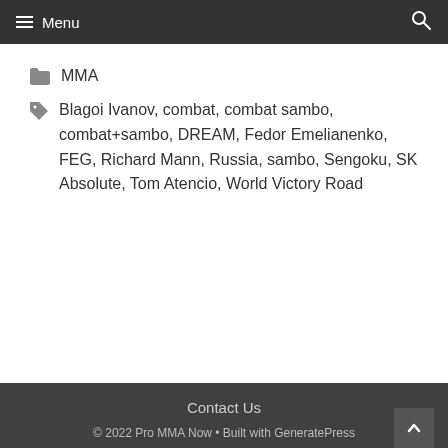Menu
MMA
Blagoi Ivanov, combat, combat sambo, combat+sambo, DREAM, Fedor Emelianenko, FEG, Richard Mann, Russia, sambo, Sengoku, SK Absolute, Tom Atencio, World Victory Road
Contact Us
© 2022 Pro MMA Now • Built with GeneratePress